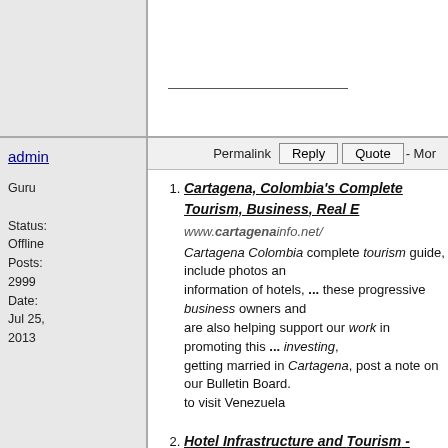___________________
admin
Permalink  Reply  Quote  - Mor
Guru
Status: Offline
Posts: 2999
Date: Jul 25, 2013
1. Cartagena, Colombia's Complete Tourism, Business, Real E... www.cartagenainfo.net/ Cartagena Colombia complete tourism guide, include photos an... information of hotels, ... these progressive business owners and... are also helping support our work in promoting this ... investing,... getting married in Cartagena, post a note on our Bulletin Board.... to visit Venezuela
2. Hotel Infrastructure and Tourism - Colombia's Official Inves... Portal www.investincolombia.com.co › Sectors › Services Known as "The Heroic City" or "The Walled City," Cartagena has... ... Opportunities: Investment in the business tourism sector to de... venues. ... For the time being, they are planning the construction... La 93 ...
3. Colombia's Official Investment Portal - Proexport Colombia www.investincolombia.com.co/ map of investment opportunities in colombia ... Sutherland is a g... business process and a technology management ... "The Ameri... chain Starwood Hotels & Resorts started construction of The Oc... project in Cartagena. ... Proexport Colombia is the bureau in sh...